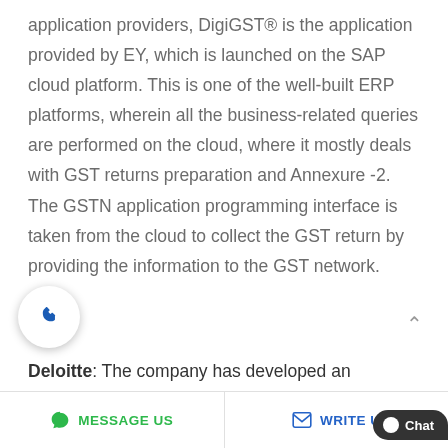application providers, DigiGST® is the application provided by EY, which is launched on the SAP cloud platform. This is one of the well-built ERP platforms, wherein all the business-related queries are performed on the cloud, where it mostly deals with GST returns preparation and Annexure -2. The GSTN application programming interface is taken from the cloud to collect the GST return by providing the information to the GST network.
Deloitte: The company has developed an
[Figure (other): Phone call button (circular white button with blue phone icon)]
MESSAGE US   WRITE U   Chat